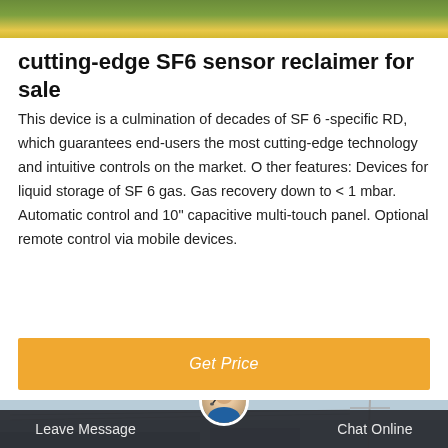[Figure (photo): Top portion of a photo showing green grass/field and yellow road markings]
cutting-edge SF6 sensor reclaimer for sale
This device is a culmination of decades of SF 6 -specific RD, which guarantees end-users the most cutting-edge technology and intuitive controls on the market. O ther features: Devices for liquid storage of SF 6 gas. Gas recovery down to < 1 mbar. Automatic control and 10" capacitive multi-touch panel. Optional remote control via mobile devices.
[Figure (screenshot): Orange Get Price button]
[Figure (photo): Bottom portion showing outdoor scene with utility pole and blue sky, with dark navigation bar containing Leave Message and Chat Online buttons]